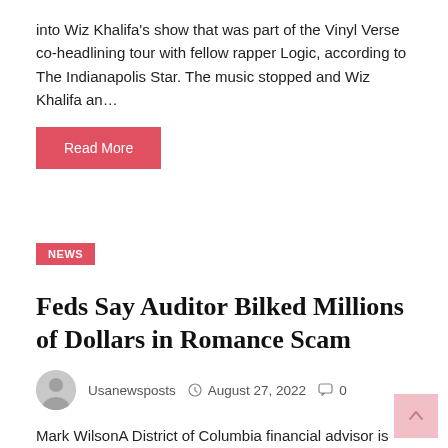into Wiz Khalifa's show that was part of the Vinyl Verse co-headlining tour with fellow rapper Logic, according to The Indianapolis Star. The music stopped and Wiz Khalifa an…
Read More
NEWS
Feds Say Auditor Bilked Millions of Dollars in Romance Scam
Usanewsposts   August 27, 2022   0
Mark WilsonA District of Columbia financial advisor is facing charges after allegedly working with a Special Deputy U.S. Marshal in his international romance scheme to defraud over a dozen victims. Charles K. Egunjobi, 48, was charged Friday with operating an unlicensed money service business relating to numerous online romance scams, mostly involving senior citizen victims in West Africa and the United